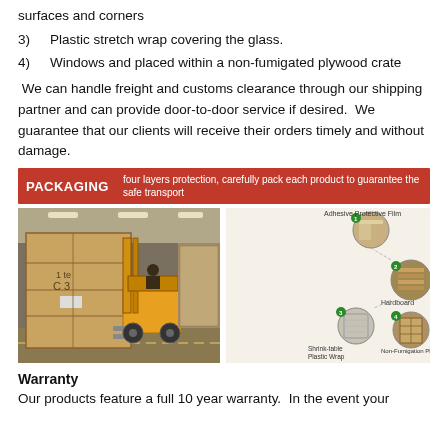surfaces and corners
3)  Plastic stretch wrap covering the glass.
4)  Windows and placed within a non-fumigated plywood crate
We can handle freight and customs clearance through our shipping partner and can provide door-to-door service if desired.  We guarantee that our clients will receive their orders timely and without damage.
[Figure (infographic): Red banner labeled PACKAGING with subtitle: four layers protection, carefully pack each product to guarantee the safe transport, followed by two images: left shows a forklift moving a large wooden plywood crate in a warehouse, right shows a diagram of four packaging layers: 1. Adhesive Protective Film, 2. Hardboard, 3. Shrink-table Plastic Wrap, 4. Non-Fumigation Plywood-Crate]
Warranty
Our products feature a full 10 year warranty.  In the event your